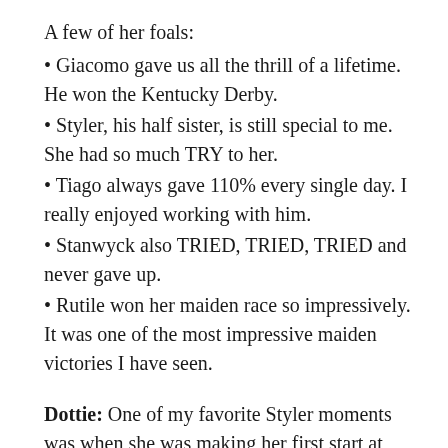A few of her foals:
Giacomo gave us all the thrill of a lifetime. He won the Kentucky Derby.
Styler, his half sister, is still special to me. She had so much TRY to her.
Tiago always gave 110% every single day. I really enjoyed working with him.
Stanwyck also TRIED, TRIED, TRIED and never gave up.
Rutile won her maiden race so impressively. It was one of the most impressive maiden victories I have seen.
Dottie: One of my favorite Styler moments was when she was making her first start at Santa